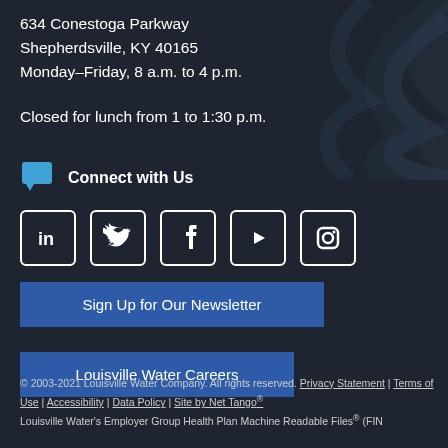634 Conestoga Parkway
Shepherdsville, KY 40165
Monday–Friday, 8 a.m. to 4 p.m.
Closed for lunch from 1 to 1:30 p.m.
Connect with Us
[Figure (illustration): Social media icons: LinkedIn, Twitter, Facebook, YouTube, Instagram]
Sign Up for Our Newsletter
Louisville Water Careers
© 2003-2021 Louisville Water Company. All rights reserved. Privacy Statement | Terms of Use | Accessibility | Data Policy | Site by Net Tango® (FIN
Louisville Water's Employer Group Health Plan Machine Readable Files® (FIN)